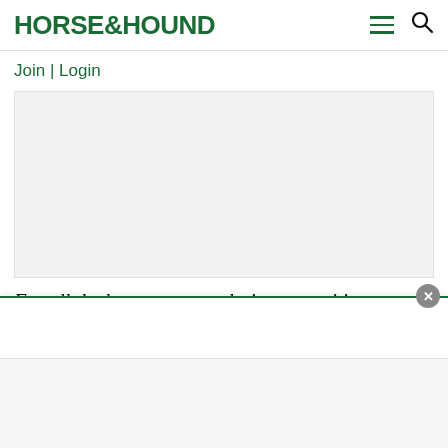HORSE&HOUND
Join | Login
[Figure (other): Advertisement placeholder area, light grey rectangle]
For all the latest news analysis, competition
[Figure (other): Popup/overlay bar with close button (x), white background with green top border]
[Figure (other): Bottom grey bar/footer area]